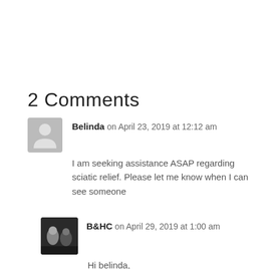2 Comments
Belinda on April 23, 2019 at 12:12 am
I am seeking assistance ASAP regarding sciatic relief. Please let me know when I can see someone
B&HC on April 29, 2019 at 1:00 am
Hi belinda,